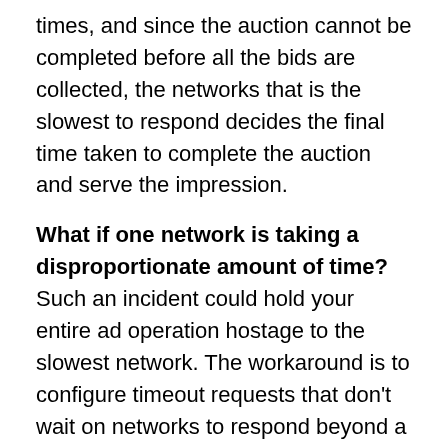times, and since the auction cannot be completed before all the bids are collected, the networks that is the slowest to respond decides the final time taken to complete the auction and serve the impression.
What if one network is taking a disproportionate amount of time? Such an incident could hold your entire ad operation hostage to the slowest network. The workaround is to configure timeout requests that don't wait on networks to respond beyond a cutoff. These parameters have to be ca[English dropdown]or optimal results,